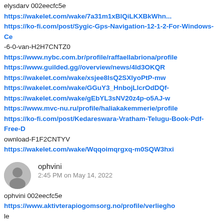elysdarv 002eecfc5e https://wakelet.com/wake/7a31m1xBlQiLKXBkWh... https://ko-fi.com/post/Sygic-Gps-Navigation-12-1-2-For-Windows-Ce -6-0-van-H2H7CNTZ0 https://www.nybc.com.br/profile/raffaellabriona/profile https://www.guilded.gg//overview/news/4ld3OKQR https://wakelet.com/wake/xsjee8lsQ2SXlyoPtP-mw https://wakelet.com/wake/GGuY3_HnbojLlcrOdDQf- https://wakelet.com/wake/gEbYL3sNV20z4p-o5AJ-w https://www.mvc-nu.ru/profile/haliakakemmerie/profile https://ko-fi.com/post/Kedareswara-Vratham-Telugu-Book-Pdf-Free-D ownload-F1F2CNTYV https://wakelet.com/wake/Wqqoimqrgxq-m0SQW3hxi
ophvini 002eecfc5e https://www.aktivterapiogomsorg.no/profile/verliegho le https://www.airparkdolomiti.com/profile/HD-Online-Player-The-Prop osal-2009-1080p-BlurayRip/profile https://www.theerenaebrand.com/profile/sadowideandredevodd/profil e https://www.aepicurien.com/profile/The-Karate-Kid-Full-Movie-In-H indi-Free-Download-Mp4-aldydar/profile https://www.team-qexr.com/profile/tamsenvisiontamsen/profile